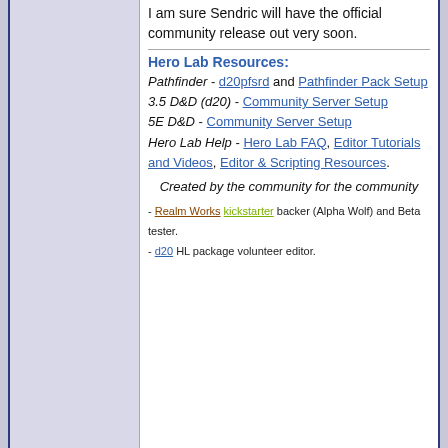I am sure Sendric will have the official community release out very soon.
Hero Lab Resources:
Pathfinder - d20pfsrd and Pathfinder Pack Setup
3.5 D&D (d20) - Community Server Setup
5E D&D - Community Server Setup
Hero Lab Help - Hero Lab FAQ, Editor Tutorials and Videos, Editor & Scripting Resources.
Created by the community for the community
- Realm Works kickstarter backer (Alpha Wolf) and Beta tester.
- d20 HL package volunteer editor.
#3
Horcoel
Junior Member

Join Date: Dec 2016
Posts: 23
October 2nd, 2017, 02:14 PM
I tried now,had Thing Extension 'spMisead6'- thing 'spMisead6' not defined error.